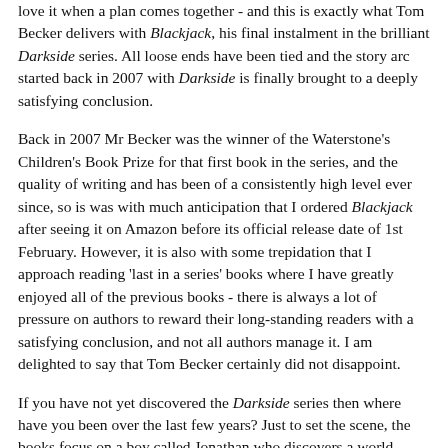love it when a plan comes together - and this is exactly what Tom Becker delivers with Blackjack, his final instalment in the brilliant Darkside series. All loose ends have been tied and the story arc started back in 2007 with Darkside is finally brought to a deeply satisfying conclusion.
Back in 2007 Mr Becker was the winner of the Waterstone's Children's Book Prize for that first book in the series, and the quality of writing and has been of a consistently high level ever since, so is was with much anticipation that I ordered Blackjack after seeing it on Amazon before its official release date of 1st February. However, it is also with some trepidation that I approach reading 'last in a series' books where I have greatly enjoyed all of the previous books - there is always a lot of pressure on authors to reward their long-standing readers with a satisfying conclusion, and not all authors manage it. I am delighted to say that Tom Becker certainly did not disappoint.
If you have not yet discovered the Darkside series then where have you been over the last few years? Just to set the scene, the books focus on a boy called Jonathan who discovers a world hidden in London; a world run by the